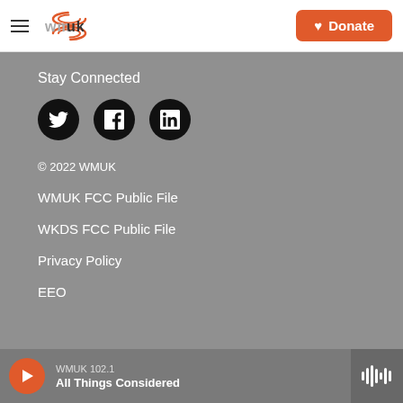WMUK — Donate
Stay Connected
[Figure (other): Social media icons: Twitter, Facebook, LinkedIn]
© 2022 WMUK
WMUK FCC Public File
WKDS FCC Public File
Privacy Policy
EEO
WMUK 102.1 — All Things Considered